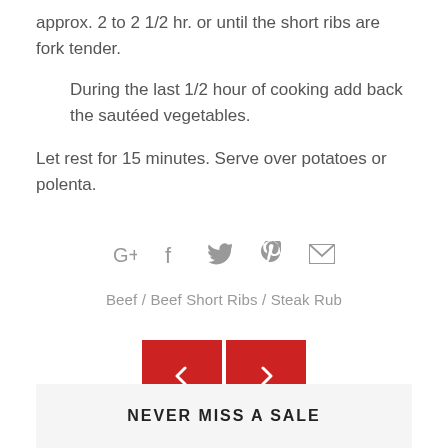approx. 2 to 2 1/2 hr. or until the short ribs are fork tender.
During the last 1/2 hour of cooking add back the sautéed vegetables.
Let rest for 15 minutes. Serve over potatoes or polenta.
[Figure (other): Social media share icons: Google+, Facebook, Twitter, Pinterest, Email]
Beef / Beef Short Ribs / Steak Rub
[Figure (other): Navigation buttons: left arrow (previous) and right arrow (next), red background]
NEVER MISS A SALE